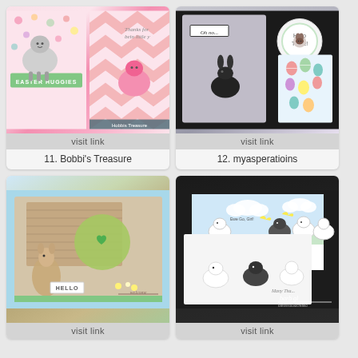[Figure (photo): Handmade Easter craft cards featuring cute lamb characters with pink and floral patterned paper, 'Easter Huggies' text, watermark 'Hobbis Treasure']
visit link
11. Bobbi's Treasure
[Figure (photo): Handmade greeting cards featuring a dark bunny on grey/lavender card with 'Oh no...' text, circular 'Hello There!' tag, and colorful Easter egg patterned card]
visit link
12. myasperatioins
[Figure (photo): Handmade card with 'HELLO' text, featuring a deer/kangaroo, wood grain and green circle with heart element, floral elements, 'welcome' banner]
visit link
[Figure (photo): Handmade sheep/lamb cards on dark background, with 'Ewe Go, Girl!' text, yellow butterflies, grass, clouds, 'Many Tha...' text, barbstudiocreations watermark]
visit link